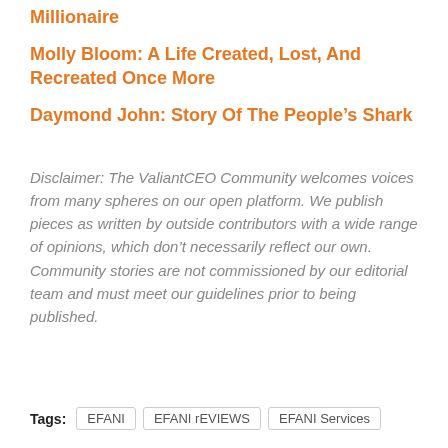Millionaire
Molly Bloom: A Life Created, Lost, And Recreated Once More
Daymond John: Story Of The People’s Shark
Disclaimer: The ValiantCEO Community welcomes voices from many spheres on our open platform. We publish pieces as written by outside contributors with a wide range of opinions, which don’t necessarily reflect our own. Community stories are not commissioned by our editorial team and must meet our guidelines prior to being published.
Tags: EFANI   EFANI rEVIEWS   EFANI Services